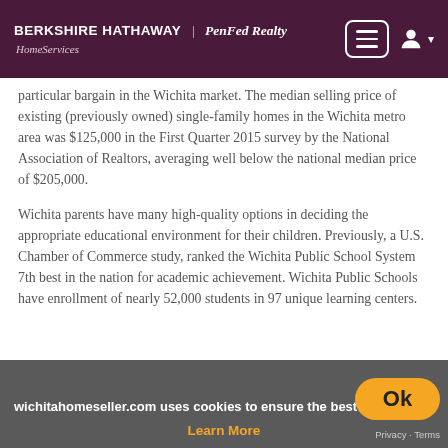BERKSHIRE HATHAWAY | PenFed Realty HomeServices
particular bargain in the Wichita market. The median selling price of existing (previously owned) single-family homes in the Wichita metro area was $125,000 in the First Quarter 2015 survey by the National Association of Realtors, averaging well below the national median price of $205,000.
Wichita parents have many high-quality options in deciding the appropriate educational environment for their children. Previously, a U.S. Chamber of Commerce study, ranked the Wichita Public School System 7th best in the nation for academic achievement. Wichita Public Schools have enrollment of nearly 52,000 students in 97 unique learning centers.
wichitahomeseller.com uses cookies to ensure the best expe Learn More Ok Privacy · Terms